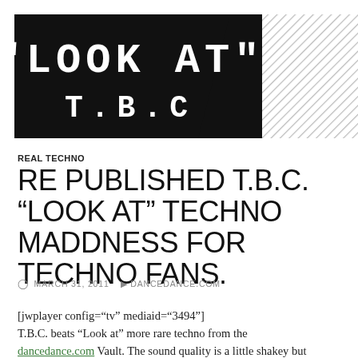[Figure (photo): Black background with white digital/LCD-style text reading '"LOOK AT"' on top line and 'T.B.C' on bottom line, with a hatched gray triangle in the top-right corner]
REAL TECHNO
RE PUBLISHED T.B.C. “LOOK AT” TECHNO MADDNESS FOR TECHNO FANS.
MARCH 31, 2011   DANCEDANCE.COM
[jwplayer config=“tv” mediaid=“3494”]
T.B.C. beats “Look at” more rare techno from the dancedance.com Vault. The sound quality is a little shakey but